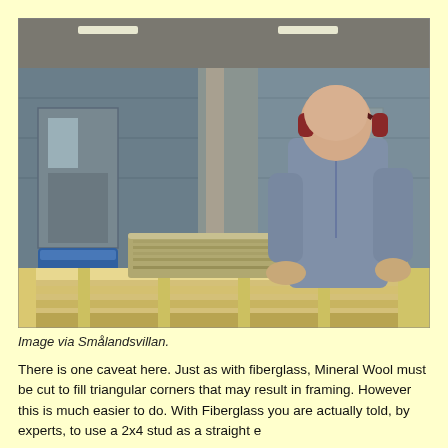[Figure (photo): A worker wearing ear protection and a blue denim shirt handles a thick slab of mineral wool insulation material inside an industrial factory or manufacturing facility. The material rests on a wooden frame structure on a workbench. Industrial equipment and blue metal building panels are visible in the background.]
Image via Smålandsvillan.
There is one caveat here. Just as with fiberglass, Mineral Wool must be cut to fill triangular corners that may result in framing. However this is much easier to do. With Fiberglass you are actually told, by experts, to use a 2x4 stud as a straight e